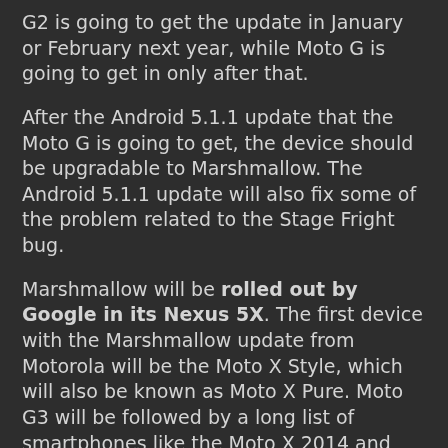G2 is going to get the update in January or February next year, while Moto G is going to get in only after that.
After the Android 5.1.1 update that the Moto G is going to get, the device should be upgradable to Marshmallow. The Android 5.1.1 update will also fix some of the problem related to the Stage Fright bug.
Marshmallow will be rolled out by Google in its Nexus 5X. The first device with the Marshmallow update from Motorola will be the Moto X Style, which will also be known as Moto X Pure. Moto G3 will be followed by a long list of smartphones like the Moto X 2014 and Moto Droid Turbo.
Motorola has always been the one company that has rolled out the software update at the earliest with its phones and hence the insiders from the industry believe that this time would be the same.